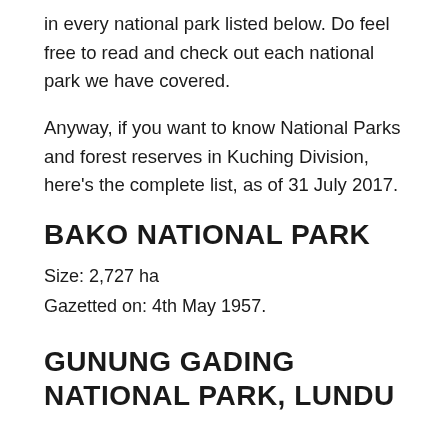in every national park listed below. Do feel free to read and check out each national park we have covered.
Anyway, if you want to know National Parks and forest reserves in Kuching Division, here's the complete list, as of 31 July 2017.
BAKO NATIONAL PARK
Size: 2,727 ha
Gazetted on: 4th May 1957.
GUNUNG GADING NATIONAL PARK, LUNDU